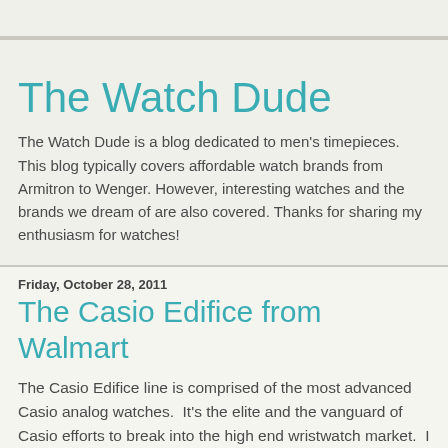The Watch Dude
The Watch Dude is a blog dedicated to men's timepieces. This blog typically covers affordable watch brands from Armitron to Wenger. However, interesting watches and the brands we dream of are also covered. Thanks for sharing my enthusiasm for watches!
Friday, October 28, 2011
The Casio Edifice from Walmart
The Casio Edifice line is comprised of the most advanced Casio analog watches.  It's the elite and the vanguard of Casio efforts to break into the high end wristwatch market.  I was quite surprised to find an Edifice model in my local Walmart.  It was the EF305-1AV model.  It's not an